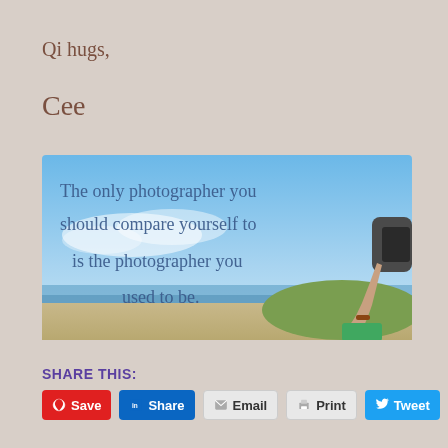Qi hugs,
Cee
[Figure (illustration): Inspirational quote image with blue sky and beach background, showing a person holding a camera. Text reads: 'The only photographer you should compare yourself to is the photographer you used to be.']
SHARE THIS:
Save  Share  Email  Print  Tweet